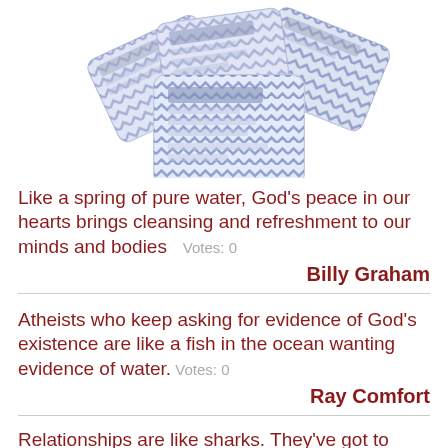[Figure (photo): Product photo of multiple face cleansing wipes packets with blue geometric chevron/herringbone pattern packaging, arranged in a fan-like spread]
Like a spring of pure water, God's peace in our hearts brings cleansing and refreshment to our minds and bodies   Votes: 0
Billy Graham
Atheists who keep asking for evidence of God's existence are like a fish in the ocean wanting evidence of water.   Votes: 0
Ray Comfort
Relationships are like sharks. They've got to keep going into deeper, colder water,